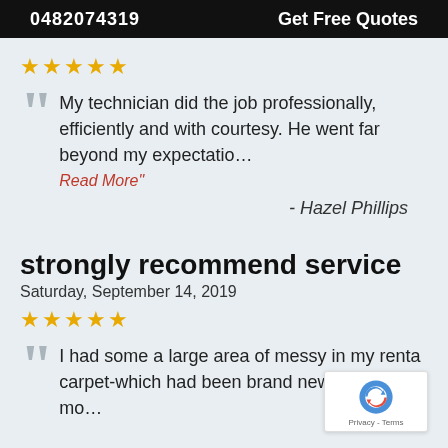0482074319   Get Free Quotes
★★★★★
My technician did the job professionally, efficiently and with courtesy. He went far beyond my expectatio… Read More"
- Hazel Phillips
strongly recommend service
Saturday, September 14, 2019
★★★★★
I had some a large area of messy in my renta carpet-which had been brand new when I mo...